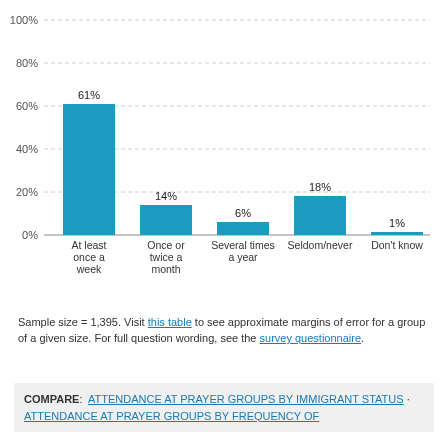[Figure (bar-chart): ]
Sample size = 1,395. Visit this table to see approximate margins of error for a group of a given size. For full question wording, see the survey questionnaire.
COMPARE: ATTENDANCE AT PRAYER GROUPS BY IMMIGRANT STATUS · ATTENDANCE AT PRAYER GROUPS BY FREQUENCY OF